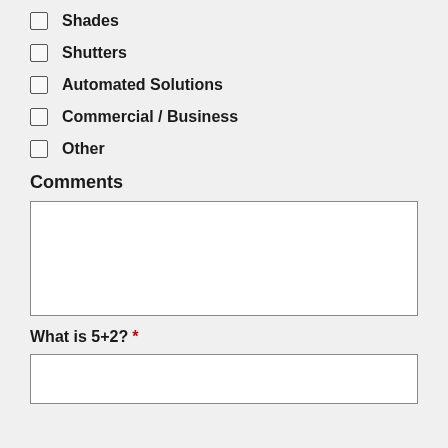Shades
Shutters
Automated Solutions
Commercial / Business
Other
Comments
[text area]
What is 5+2?  *
[input field]